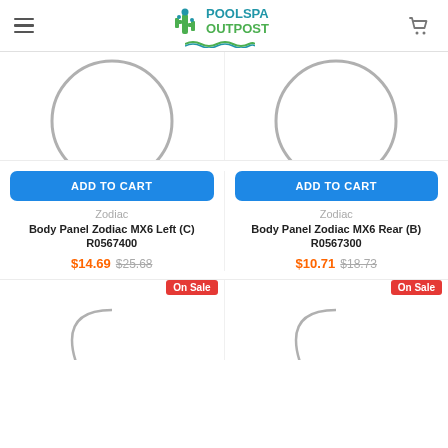Pool Spa Outpost — navigation header with logo and cart
[Figure (photo): Partial circular product image top-left (clipped at top)]
[Figure (photo): Partial circular product image top-right (clipped at top)]
ADD TO CART
ADD TO CART
Zodiac
Body Panel Zodiac MX6 Left (C) R0567400
$14.69 $25.68
Zodiac
Body Panel Zodiac MX6 Rear (B) R0567300
$10.71 $18.73
On Sale
On Sale
[Figure (photo): Partial product image bottom-left (clipped, On Sale badge)]
[Figure (photo): Partial product image bottom-right (clipped, On Sale badge)]